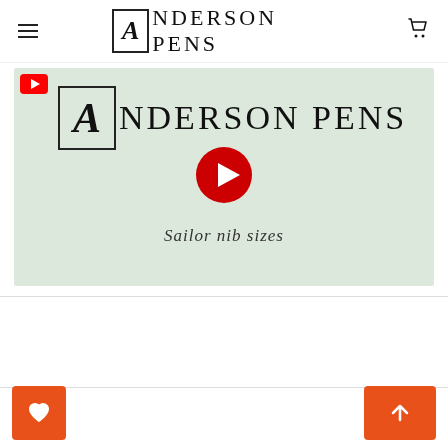[Figure (logo): Anderson Pens logo in page header with hamburger menu and cart icon]
[Figure (screenshot): YouTube video thumbnail showing Anderson Pens logo and text 'Sailor nib sizes' with red YouTube play button overlay]
[Figure (other): Orange wishlist heart button at bottom left and orange scroll-to-top arrow button at bottom right]